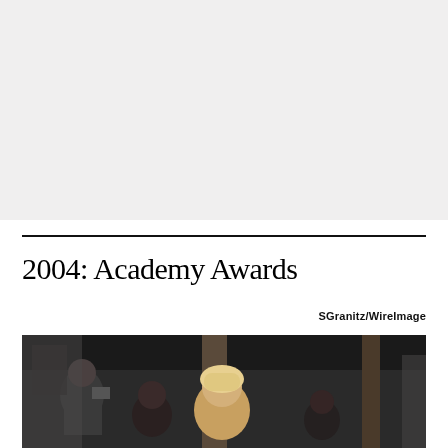[Figure (photo): Top portion of a photo or image area, light gray background, appears to be cropped/cut off]
2004: Academy Awards
SGranitz/WireImage
[Figure (photo): Bottom portion of a photograph showing people at the 2004 Academy Awards, a blonde person is visible in the center]